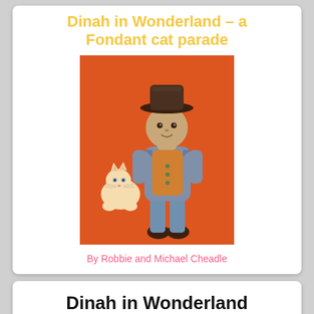Dinah in Wonderland – a Fondant cat parade
[Figure (photo): Fondant figure of a man in a grey suit with brown hat and orange vest, standing next to a small cream-colored fondant cat, on an orange background]
By Robbie and Michael Cheadle
Dinah in Wonderland
[Figure (photo): Fondant cake scene with various cat figurines, flowers, a dark hat with a grey cat on top, and a yellow lizard, on an orange background with a wooden board]